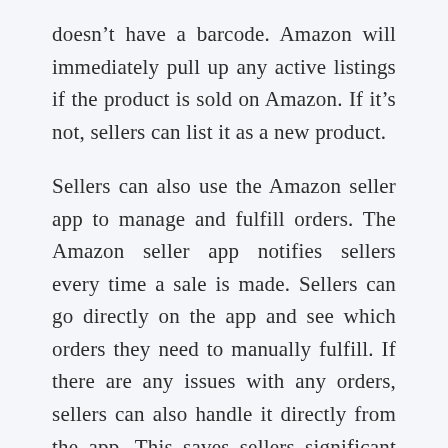doesn't have a barcode. Amazon will immediately pull up any active listings if the product is sold on Amazon. If it's not, sellers can list it as a new product.
Sellers can also use the Amazon seller app to manage and fulfill orders. The Amazon seller app notifies sellers every time a sale is made. Sellers can go directly on the app and see which orders they need to manually fulfill. If there are any issues with any orders, sellers can also handle it directly from the app. This saves sellers significant time and they can focus on aspects of their business that directly impacts sales.